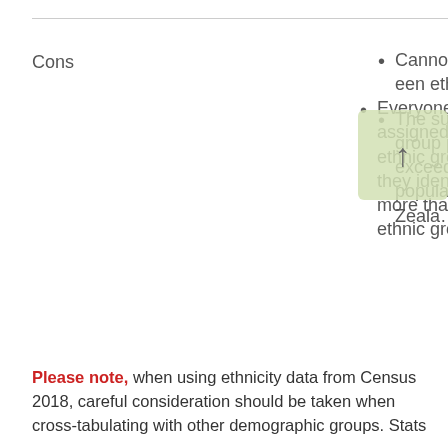Cons
Everyone is assigned to only one ethnic group, even if they identify with more than one ethnic group
Cannot compare between ethnic groups
The sum of the ethnic group populations will exceed total population New Zealand
Please note, when using ethnicity data from Census 2018, careful consideration should be taken when cross-tabulating with other demographic groups. Stats